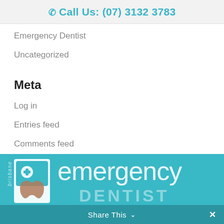Call Us: (07) 3132 3783
Emergency Dentist
Uncategorized
Meta
Log in
Entries feed
Comments feed
WordPress.org
[Figure (logo): Emergency Dentist Brisbane logo with teal tooth icon and text 'emergency DENTIST' on teal background, with Share This bar at bottom]